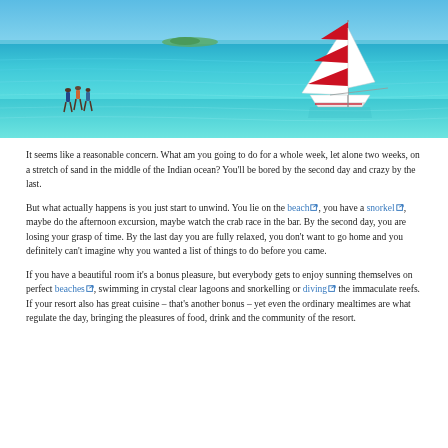[Figure (photo): A tropical ocean scene showing a sailboat with red and white striped sails on clear turquoise water, with two distant figures wading in shallow water on the left, and a small island visible on the horizon.]
It seems like a reasonable concern. What am you going to do for a whole week, let alone two weeks, on a stretch of sand in the middle of the Indian ocean? You'll be bored by the second day and crazy by the last.
But what actually happens is you just start to unwind. You lie on the beach, you have a snorkel, maybe do the afternoon excursion, maybe watch the crab race in the bar. By the second day, you are losing your grasp of time. By the last day you are fully relaxed, you don't want to go home and you definitely can't imagine why you wanted a list of things to do before you came.
If you have a beautiful room it's a bonus pleasure, but everybody gets to enjoy sunning themselves on perfect beaches, swimming in crystal clear lagoons and snorkelling or diving the immaculate reefs. If your resort also has great cuisine – that's another bonus – yet even the ordinary mealtimes are what regulate the day, bringing the pleasures of food, drink and the community of the resort.